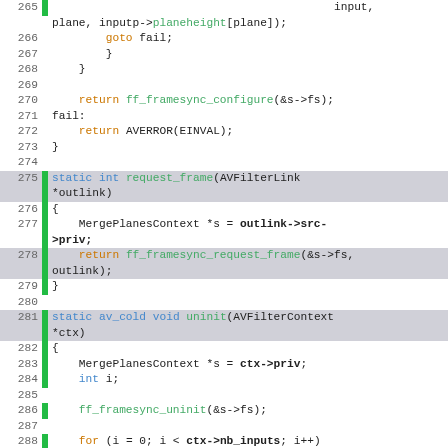[Figure (screenshot): Source code viewer showing C code lines 265-293, with syntax highlighting (blue keywords, orange keywords/return statements, green function calls), line numbers on the left, and a green gutter bar indicating modified lines.]